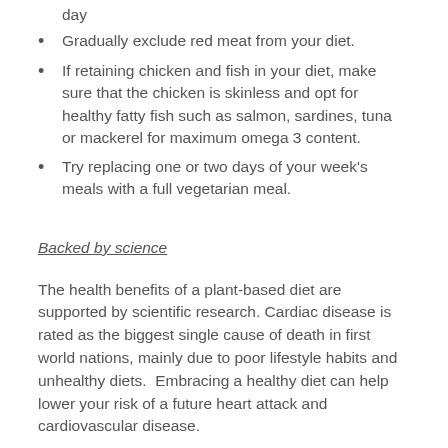day
Gradually exclude red meat from your diet.
If retaining chicken and fish in your diet, make sure that the chicken is skinless and opt for healthy fatty fish such as salmon, sardines, tuna or mackerel for maximum omega 3 content.
Try replacing one or two days of your week's meals with a full vegetarian meal.
Backed by science
The health benefits of a plant-based diet are supported by scientific research. Cardiac disease is rated as the biggest single cause of death in first world nations, mainly due to poor lifestyle habits and unhealthy diets.  Embracing a healthy diet can help lower your risk of a future heart attack and cardiovascular disease.